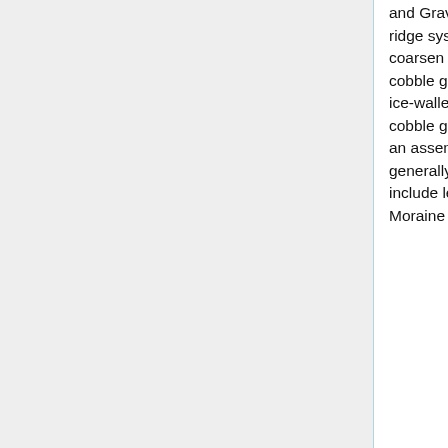and Gravel Formation). They occur as ice-marginal fans, flat-topped plateaux, mounds, ridge systems and terraces. Fans and plateaux commonly include sequences that coarsen upwards from laminated silt and clay, through fine- and coarse-grained sand to cobble gravel, indicating that they were deposited as deltas within ice-marginal lakes or ice-walled enclaves within stagnant ice. Ridge systems commonly include cores of cobble gravel partially overlain and surrounded by sand and gravel that fine upwards, an assemblage that is typical of eskers formed subglacially. Terraces and benches are generally formed by dense gravel, laid down as glaciofluvial outwash. All deposits include lenses of, and are locally capped by, red gravelly diamicton. The 'Brampton Moraine Belt'